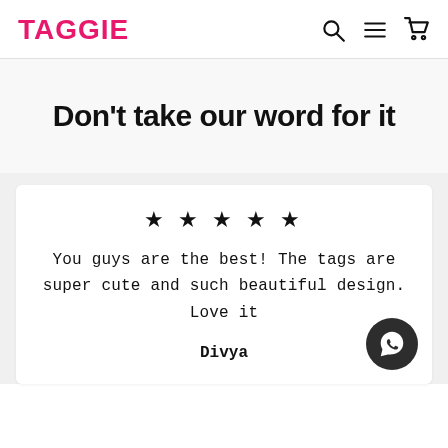TAGGIE
Don't take our word for it
★ ★ ★ ★ ★
You guys are the best! The tags are super cute and such beautiful design. Love it
Divya